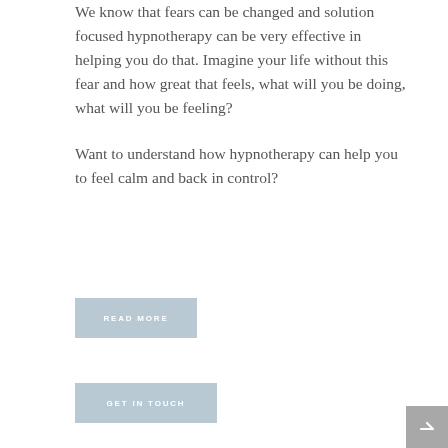We know that fears can be changed and solution focused hypnotherapy can be very effective in helping you do that. Imagine your life without this fear and how great that feels, what will you be doing, what will you be feeling?

Want to understand how hypnotherapy can help you to feel calm and back in control?
READ MORE
GET IN TOUCH